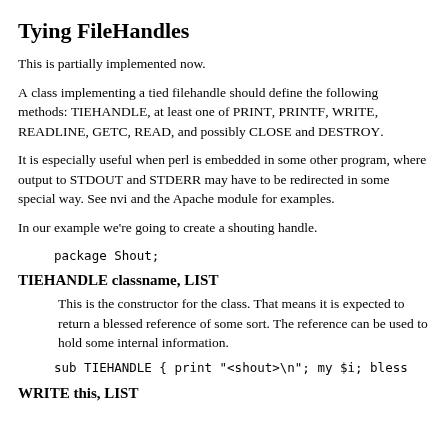Tying FileHandles
This is partially implemented now.
A class implementing a tied filehandle should define the following methods: TIEHANDLE, at least one of PRINT, PRINTF, WRITE, READLINE, GETC, READ, and possibly CLOSE and DESTROY.
It is especially useful when perl is embedded in some other program, where output to STDOUT and STDERR may have to be redirected in some special way. See nvi and the Apache module for examples.
In our example we're going to create a shouting handle.
package Shout;
TIEHANDLE classname, LIST
This is the constructor for the class. That means it is expected to return a blessed reference of some sort. The reference can be used to hold some internal information.
sub TIEHANDLE { print "<shout>\n"; my $i; bless
WRITE this, LIST